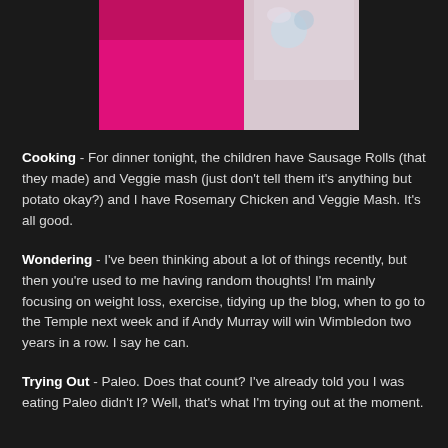[Figure (photo): Partial photo showing a person in a pink/magenta top and another figure in lighter tones, cropped at top of page]
Cooking - For dinner tonight, the children have Sausage Rolls (that they made) and Veggie mash (just don't tell them it's anything but potato okay?) and I have Rosemary Chicken and Veggie Mash. It's all good.
Wondering - I've been thinking about a lot of things recently, but then you're used to me having random thoughts! I'm mainly focusing on weight loss, exercise, tidying up the blog, when to go to the Temple next week and if Andy Murray will win Wimbledon two years in a row. I say he can.
Trying Out - Paleo. Does that count? I've already told you I was eating Paleo didn't I? Well, that's what I'm trying out at the moment.